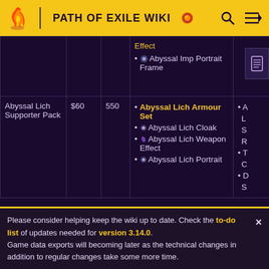PATH OF EXILE WIKI
| Name | Price | Points | Included Items | More Items |
| --- | --- | --- | --- | --- |
|  |  |  | Effect
• Abyssal Imp Portrait Frame |  |
| Abyssal Lich Supporter Pack | $60 | 550 | • Abyssal Lich Armour Set
• Abyssal Lich Cloak
• Abyssal Lich Weapon Effect
• Abyssal Lich Portrait | • A... L... S...
• T... C... B...
• D... S... |
Please consider helping keep the wiki up to date. Check the to-do list of updates needed for version 3.14.0.
Game data exports will becoming later as the technical changes in addition to regular changes take some more time.